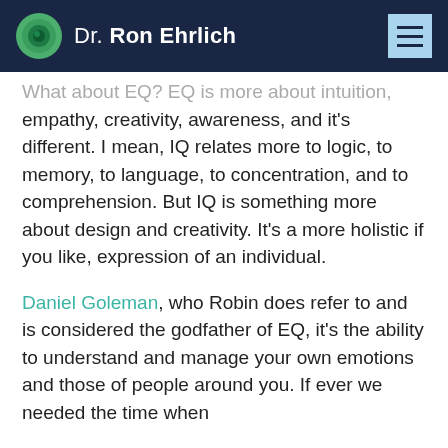Dr. Ron Ehrlich
What about EQ? EQ is more about intuition, empathy, creativity, awareness, and it's different. I mean, IQ relates more to logic, to memory, to language, to concentration, and to comprehension. But IQ is something more about design and creativity. It's a more holistic if you like, expression of an individual.
Daniel Goleman, who Robin does refer to and is considered the godfather of EQ, it's the ability to understand and manage your own emotions and those of people around you. If ever we needed the time when